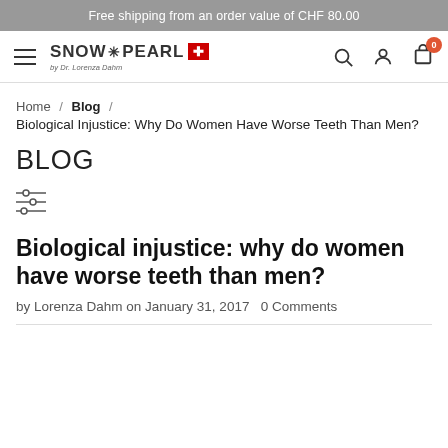Free shipping from an order value of CHF 80.00
[Figure (logo): Snow Pearl by Dr. Lorenza Dahm logo with Swiss cross]
Home / Blog / Biological Injustice: Why Do Women Have Worse Teeth Than Men?
BLOG
[Figure (other): Filter/sliders icon]
Biological injustice: why do women have worse teeth than men?
by Lorenza Dahm on January 31, 2017   0 Comments